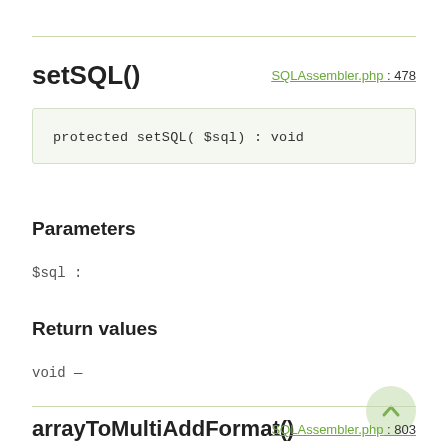setSQL()
SQLAssembler.php : 478
protected setSQL( $sql) : void
Parameters
$sql :
Return values
void —
arrayToMultiAddFormat()
SQLAssembler.php : 803